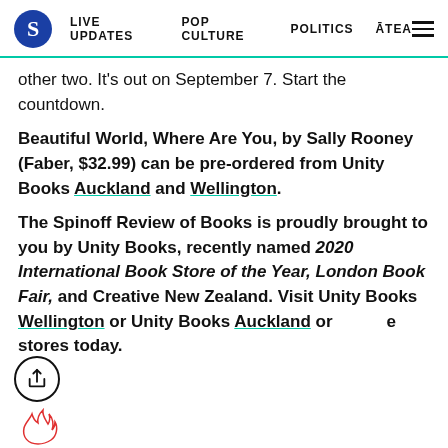S  LIVE UPDATES  POP CULTURE  POLITICS  ĀTEA
other two. It's out on September 7. Start the countdown.
Beautiful World, Where Are You, by Sally Rooney (Faber, $32.99) can be pre-ordered from Unity Books Auckland and Wellington.
The Spinoff Review of Books is proudly brought to you by Unity Books, recently named 2020 International Book Store of the Year, London Book Fair, and Creative New Zealand. Visit Unity Books Wellington or Unity Books Auckland or the stores today.